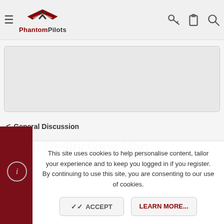PhantomPilots
[Figure (other): Advertisement placeholder box]
< General Discussion
Flight Restrictions Map
Jacob · May 1, 2015
This site uses cookies to help personalise content, tailor your experience and to keep you logged in if you register. By continuing to use this site, you are consenting to our use of cookies.
ACCEPT  LEARN MORE...